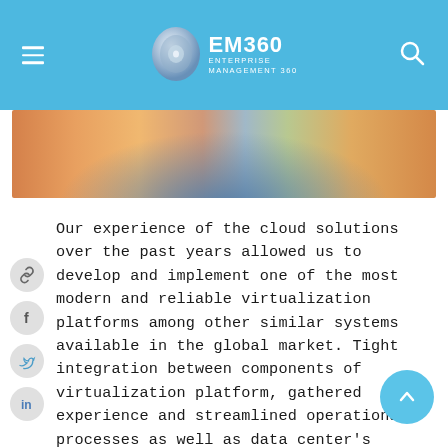EM360 ENTERPRISE MANAGEMENT 360
[Figure (photo): Abstract colorful radial image with orange, blue, and green tones used as hero banner]
Our experience of the cloud solutions over the past years allowed us to develop and implement one of the most modern and reliable virtualization platforms among other similar systems available in the global market. Tight integration between components of virtualization platform, gathered experience and streamlined operational processes as well as data center’s infrastructure, built according to Tier 4 standards, and components from leading vendors HP, Juniper, VmWare allow us to provide a highly reliable virtualization platform with the